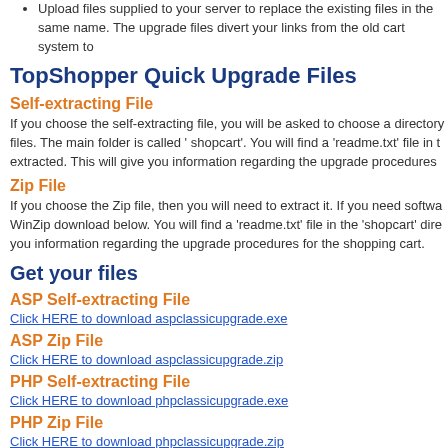Upload files supplied to your server to replace the existing files in the same name. The upgrade files divert your links from the old cart system to…
TopShopper Quick Upgrade Files
Self-extracting File
If you choose the self-extracting file, you will be asked to choose a directory files. The main folder is called ' shopcart'. You will find a 'readme.txt' file in t extracted. This will give you information regarding the upgrade procedures…
Zip File
If you choose the Zip file, then you will need to extract it. If you need softwa WinZip download below. You will find a 'readme.txt' file in the 'shopcart' dire you information regarding the upgrade procedures for the shopping cart.
Get your files
ASP Self-extracting File
Click HERE to download aspclassicupgrade.exe
ASP Zip File
Click HERE to download aspclassicupgrade.zip
PHP Self-extracting File
Click HERE to download phpclassicupgrade.exe
PHP Zip File
Click HERE to download phpclassicupgrade.zip